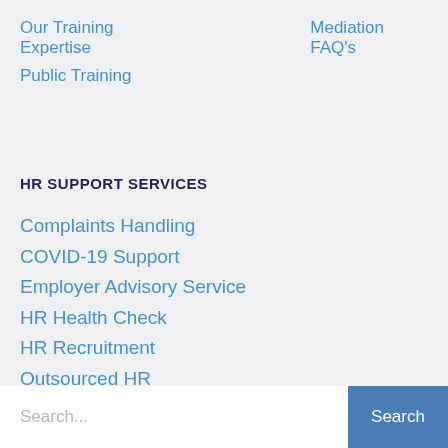Our Training Expertise
Mediation FAQ's
Public Training
HR SUPPORT SERVICES
Complaints Handling
COVID-19 Support
Employer Advisory Service
HR Health Check
HR Recruitment
Outsourced HR
Policies and Procedures
SME HR Support
Our Expertise